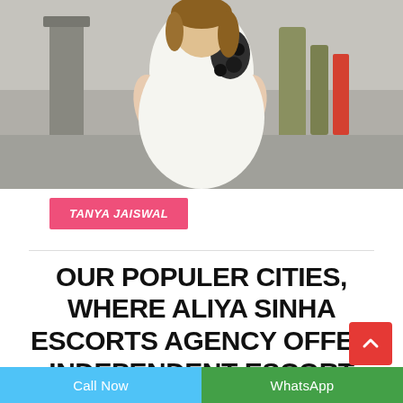[Figure (photo): Woman in white dress with black floral applique standing outdoors near stone pillar and trees]
TANYA JAISWAL
OUR POPULER CITIES, WHERE ALIYA SINHA ESCORTS AGENCY OFFER INDEPENDENT ESCORT SERVICE
Call Now | WhatsApp